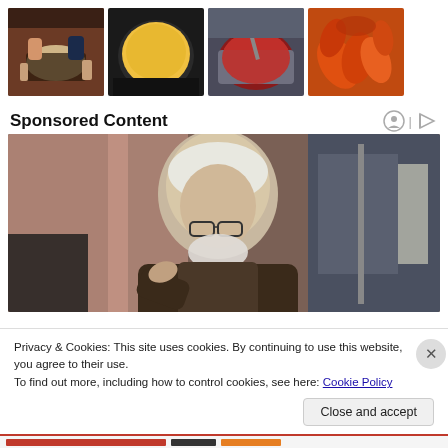[Figure (photo): Grid of four food photos: hands holding a pan with light batter, a round yellow cake in a spring-form pan, a red sauce in a pot, and sliced red/orange peppers arranged on a surface.]
Sponsored Content
[Figure (photo): An elderly man with white hair and beard, wearing glasses and a dark blazer, looking downward, photographed in an indoor setting with pink curtains and kitchen equipment in background.]
Privacy & Cookies: This site uses cookies. By continuing to use this website, you agree to their use.
To find out more, including how to control cookies, see here: Cookie Policy
Close and accept